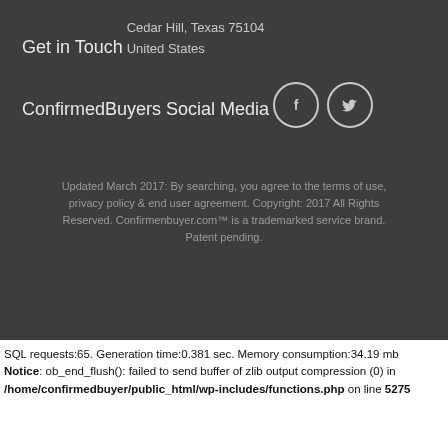Get in Touch
Cedar Hill, Texas 75104
United States
ConfirmedBuyers Social Media
[Figure (illustration): Two circular social media icon buttons: Facebook (f) and Twitter (bird icon), outlined circles on dark background]
Updated March 2017: By searching, you agree to the terms of use, privacy policy & end user agreement. Copyright: 2017 All Rights Reserved. Confirmenbuyer.com™ is a trademarked service brand. Patent pending.
SQL requests:65. Generation time:0.381 sec. Memory consumption:34.19 mb
Notice: ob_end_flush(): failed to send buffer of zlib output compression (0) in /home/confirmedbuyer/public_html/wp-includes/functions.php on line 5275